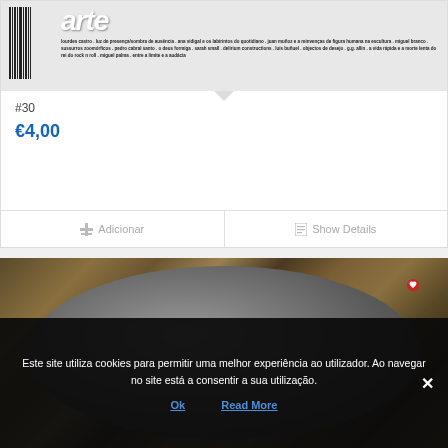[Figure (photo): Magazine cover strip showing barcode on left, bold italic 'arte' title in white, and dense small text listing contributor names and article topics in Portuguese]
#30
€4,00
Adicionar
Show Details
[Figure (photo): Close-up photo of an ornate vintage oval mirror with decorative golden-bronze frame, showing a dark reflective surface. A small red heart/pin icon is visible near the upper right of the mirror.]
Este site utiliza cookies para permitir uma melhor experiência ao utilizador. Ao navegar no site está a consentir a sua utilização.
Ok
Read More